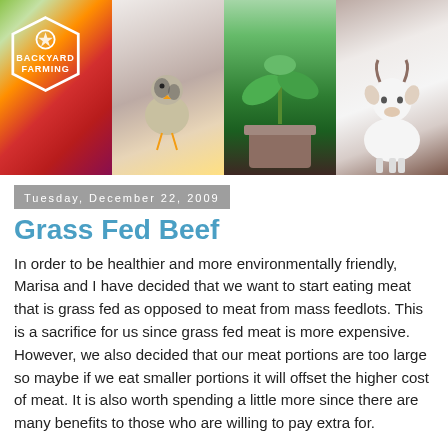[Figure (photo): Four photo panels side by side: fruits with Backyard Farming logo badge, a baby chick, a green seedling plant, and a young white goat.]
Tuesday, December 22, 2009
Grass Fed Beef
In order to be healthier and more environmentally friendly, Marisa and I have decided that we want to start eating meat that is grass fed as opposed to meat from mass feedlots. This is a sacrifice for us since grass fed meat is more expensive. However, we also decided that our meat portions are too large so maybe if we eat smaller portions it will offset the higher cost of meat. It is also worth spending a little more since there are many benefits to those who are willing to pay extra for.